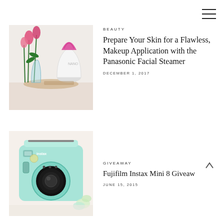[Figure (illustration): Hamburger menu icon in top right corner]
[Figure (photo): Photo of a Panasonic facial steamer device next to pink tulips in a glass vase on a marble surface]
BEAUTY
Prepare Your Skin for a Flawless, Makeup Application with the Panasonic Facial Steamer
DECEMBER 1, 2017
[Figure (photo): Photo of a mint-green Fujifilm Instax Mini 8 camera with some flowers in the background]
GIVEAWAY
Fujifilm Instax Mini 8 Giveaw
JUNE 15, 2015